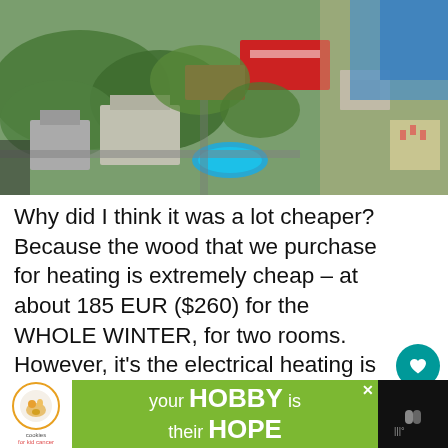[Figure (photo): Aerial view of a resort complex with trees, hotel buildings, a swimming pool, and a beach with sea in the background.]
Why did I think it was a lot cheaper? Because the wood that we purchase for heating is extremely cheap – at about 185 EUR ($260) for the WHOLE WINTER, for two rooms. However, it's the electrical heating is killing us.
[Figure (infographic): Advertisement banner: 'cookies for kid cancer' logo on left, green background with text 'your HOBBY is their HOPE', close button and icon on right.]